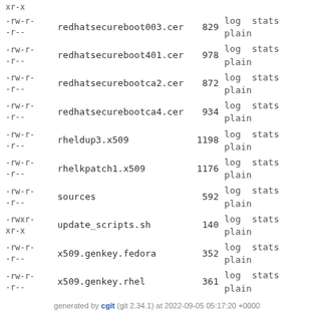-rw-r--r--  redhatsecureboot003.cer  829  log stats plain
-rw-r--r--  redhatsecureboot401.cer  978  log stats plain
-rw-r--r--  redhatsecurebootca2.cer  872  log stats plain
-rw-r--r--  redhatsecurebootca4.cer  934  log stats plain
-rw-r--r--  rheldup3.x509  1198  log stats plain
-rw-r--r--  rhelkpatch1.x509  1176  log stats plain
-rw-r--r--  sources  592  log stats plain
-rwxr-xr-x  update_scripts.sh  140  log stats plain
-rw-r--r--  x509.genkey.fedora  352  log stats plain
-rw-r--r--  x509.genkey.rhel  361  log stats plain
generated by cgit (git 2.34.1) at 2022-09-05 05:17:20 +0000